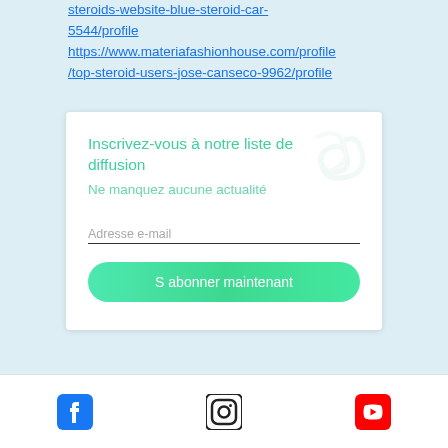steroids-website-blue-steroid-car-5544/profile
https://www.materiafashionhouse.com/profile/top-steroid-users-jose-canseco-9962/profile
[Figure (screenshot): Newsletter signup card with teal heading 'Inscrivez-vous à notre liste de diffusion', subtitle 'Ne manquez aucune actualité', email input field, and green 'S abonner maintenant' button]
[Figure (infographic): Social media footer icons: Facebook (blue), Instagram (black), YouTube (red)]